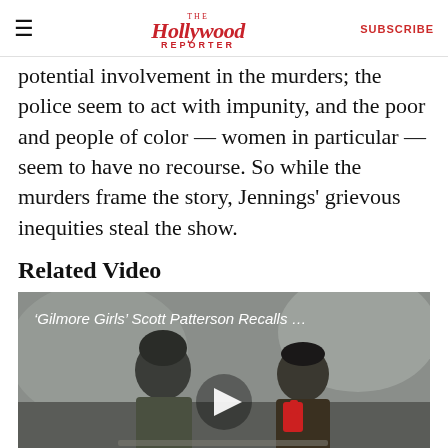The Hollywood Reporter | SUBSCRIBE
potential involvement in the murders; the police seem to act with impunity, and the poor and people of color — women in particular — seem to have no recourse. So while the murders frame the story, Jennings' grievous inequities steal the show.
Related Video
[Figure (screenshot): Video thumbnail showing two people sitting outdoors in a snowy setting. A man in a dark beanie and olive jacket on the left, and a woman in a black hat and red scarf on the right. Overlay text reads: 'Gilmore Girls' Scott Patterson Recalls … A play button is centered over the image.]